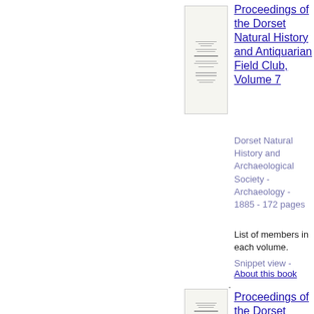[Figure (illustration): Thumbnail image of book cover for Proceedings of the Dorset Natural History and Antiquarian Field Club, Volume 7]
Proceedings of the Dorset Natural History and Antiquarian Field Club, Volume 7
Dorset Natural History and Archaeological Society - Archaeology - 1885 - 172 pages
List of members in each volume.
Snippet view - About this book
[Figure (illustration): Thumbnail image of book cover for Proceedings of the Dorset Natural History (second entry)]
Proceedings of the Dorset Natural